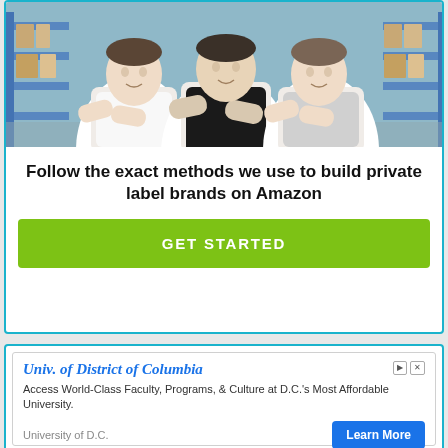[Figure (photo): Three men standing with arms crossed in a warehouse with shelves of boxes in the background. Left man wears white t-shirt, center man wears black t-shirt, right man wears gray t-shirt. Image has white cutout border effect.]
Follow the exact methods we use to build private label brands on Amazon
[Figure (other): Green button with white uppercase text reading GET STARTED]
[Figure (other): Advertisement banner for University of District of Columbia with Learn More button]
Univ. of District of Columbia
Access World-Class Faculty, Programs, & Culture at D.C.'s Most Affordable University.
University of D.C.
Learn More